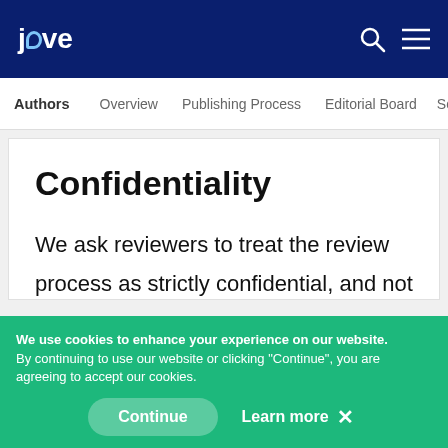jove
Authors | Overview | Publishing Process | Editorial Board | Scop
Confidentiality
We ask reviewers to treat the review process as strictly confidential, and not to discuss the manuscript with anyone not directly involved in the review. It is
We use cookies to enhance your experience on our website. By continuing to use our website or clicking "Continue", you are agreeing to accept our cookies. Continue Learn more ×